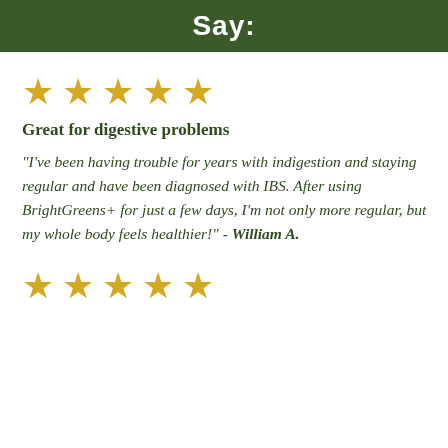Say:
[Figure (other): Five gold star rating icons]
Great for digestive problems
"I've been having trouble for years with indigestion and staying regular and have been diagnosed with IBS. After using BrightGreens+ for just a few days, I'm not only more regular, but my whole body feels healthier!" - William A.
[Figure (other): Five gold star rating icons (partial view at bottom)]